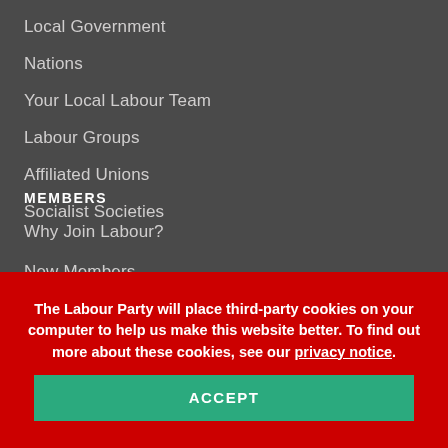Local Government
Nations
Your Local Labour Team
Labour Groups
Affiliated Unions
Socialist Societies
MEMBERS
Why Join Labour?
New Members
The Labour Party will place third-party cookies on your computer to help us make this website better. To find out more about these cookies, see our privacy notice.
ACCEPT